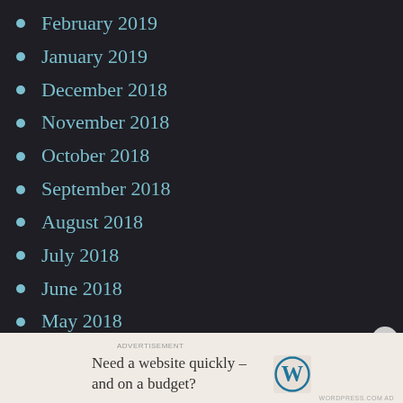February 2019
January 2019
December 2018
November 2018
October 2018
September 2018
August 2018
July 2018
June 2018
May 2018
April 2018
March 2018
February 2018
ADVERTISEMENT
Need a website quickly – and on a budget?